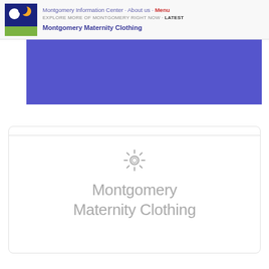Montgomery Information Center · About us · Menu
EXPLORE MORE OF MONTGOMERY RIGHT NOW · Latest
Montgomery Maternity Clothing
[Figure (other): Blue/purple rectangular banner image, partially visible]
[Figure (other): White card with a decorative circular gear/sun icon and text 'Montgomery Maternity Clothing' in light gray]
Montgomery Maternity Clothing